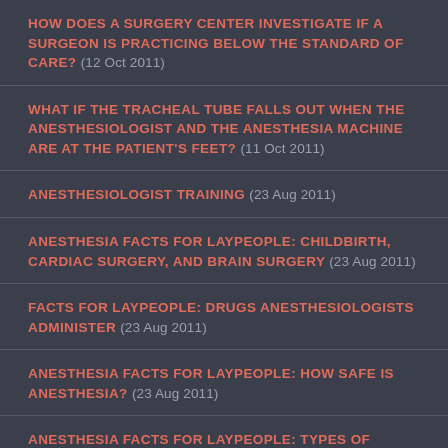HOW DOES A SURGERY CENTER INVESTIGATE IF A SURGEON IS PRACTICING BELOW THE STANDARD OF CARE?  (12 Oct 2011)
WHAT IF THE TRACHEAL TUBE FALLS OUT WHEN THE ANESTHESIOLOGIST AND THE ANESTHESIA MACHINE ARE AT THE PATIENT'S FEET?  (11 Oct 2011)
ANESTHESIOLOGIST TRAINING  (23 Aug 2011)
ANESTHESIA FACTS FOR LAYPEOPLE: CHILDBIRTH, CARDIAC SURGERY, AND BRAIN SURGERY  (23 Aug 2011)
FACTS FOR LAYPEOPLE: DRUGS ANESTHESIOLOGISTS ADMINISTER  (23 Aug 2011)
ANESTHESIA FACTS FOR LAYPEOPLE: HOW SAFE IS ANESTHESIA?  (23 Aug 2011)
ANESTHESIA FACTS FOR LAYPEOPLE: TYPES OF...